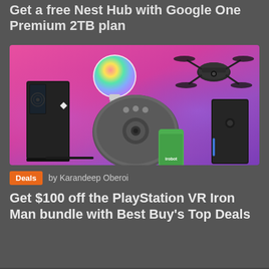Get a free Nest Hub with Google One Premium 2TB plan
[Figure (photo): Promotional image showing tech gadgets on a pink/purple gradient background: a smart RGB light bulb, a drone, a gaming PC tower, a Roomba robot vacuum with iRobot smartphone app, and a desktop PC tower.]
Deals by Karandeep Oberoi
Get $100 off the PlayStation VR Iron Man bundle with Best Buy's Top Deals